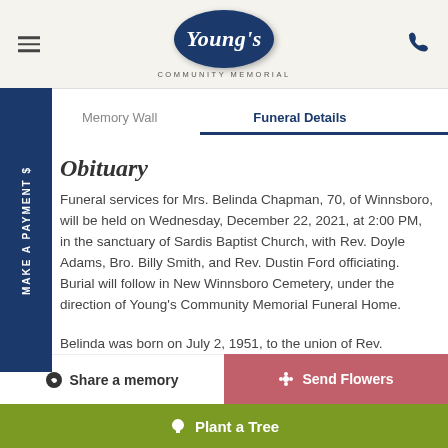Young's Community Memorial
Memory Wall | Funeral Details
Obituary
Funeral services for Mrs. Belinda Chapman, 70, of Winnsboro, will be held on Wednesday, December 22, 2021, at 2:00 PM, in the sanctuary of Sardis Baptist Church, with Rev. Doyle Adams, Bro. Billy Smith, and Rev. Dustin Ford officiating. Burial will follow in New Winnsboro Cemetery, under the direction of Young's Community Memorial Funeral Home.
Belinda was born on July 2, 1951, to the union of Rev.
Share a memory | Send Flowers | Plant a Tree